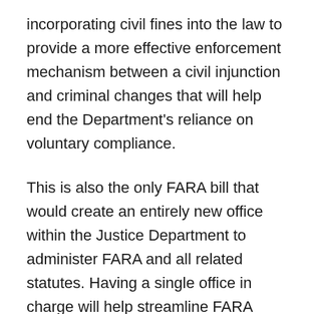incorporating civil fines into the law to provide a more effective enforcement mechanism between a civil injunction and criminal changes that will help end the Department's reliance on voluntary compliance.
This is also the only FARA bill that would create an entirely new office within the Justice Department to administer FARA and all related statutes. Having a single office in charge will help streamline FARA enforcement and clarify what constitutes a prosecutable FARA case. The bill would